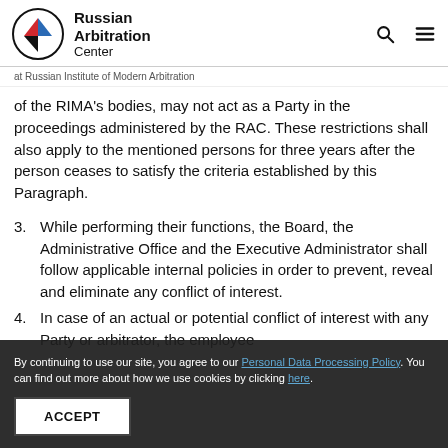Russian Arbitration Center at Russian Institute of Modern Arbitration
of the RIMA's bodies, may not act as a Party in the proceedings administered by the RAC. These restrictions shall also apply to the mentioned persons for three years after the person ceases to satisfy the criteria established by this Paragraph.
3. While performing their functions, the Board, the Administrative Office and the Executive Administrator shall follow applicable internal policies in order to prevent, reveal and eliminate any conflict of interest.
4. In case of an actual or potential conflict of interest with any Party or arbitrator, the employee
By continuing to use our site, you agree to our Personal Data Processing Policy. You can find out more about how we use cookies by clicking here.
ACCEPT